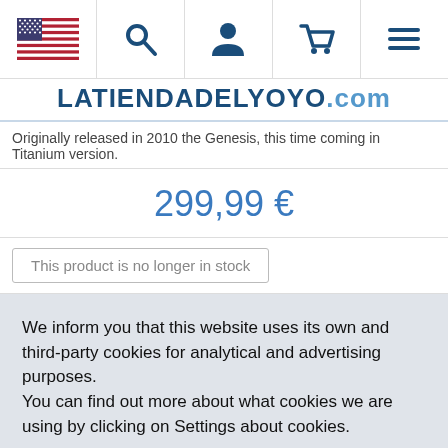LATIENDADELYOYO.com — navigation bar with flag, search, user, cart, menu icons
Originally released in 2010 the Genesis, this time coming in Titanium version.
299,99 €
This product is no longer in stock
We inform you that this website uses its own and third-party cookies for analytical and advertising purposes.
You can find out more about what cookies we are using by clicking on Settings about cookies.
⚙ Configure   ✔ Accept all   ✕ Rechazar todas